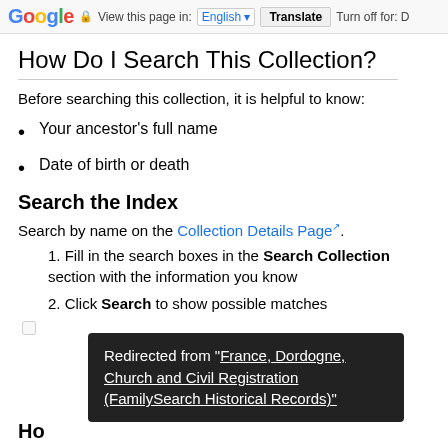Google  View this page in: English  Translate  Turn off for: D
How Do I Search This Collection?
Before searching this collection, it is helpful to know:
Your ancestor's full name
Date of birth or death
Search the Index
Search by name on the Collection Details Page.
1. Fill in the search boxes in the Search Collection section with the information you know
2. Click Search to show possible matches
Redirected from "France, Dordogne, Church and Civil Registration (FamilySearch Historical Records)"
Ho